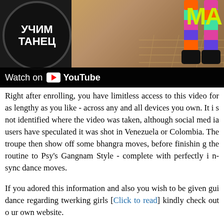[Figure (screenshot): YouTube video thumbnail showing a dance video with Cyrillic text 'УЧИМ ТАНЕЦ' in a circle badge on a dark background, colorful legs on the right, yellow 'MA' text, and a 'Watch on YouTube' bar at the bottom.]
Right after enrolling, you have limitless access to this video for as lengthy as you like - across any and all devices you own. It is not identified where the video was taken, although social media users have speculated it was shot in Venezuela or Colombia. The troupe then show off some bhangra moves, before finishing the routine to Psy's Gangnam Style - complete with perfectly in-sync dance moves.
If you adored this information and also you wish to be given guidance regarding twerking girls [Click to read] kindly check out our own website.
👏 clap